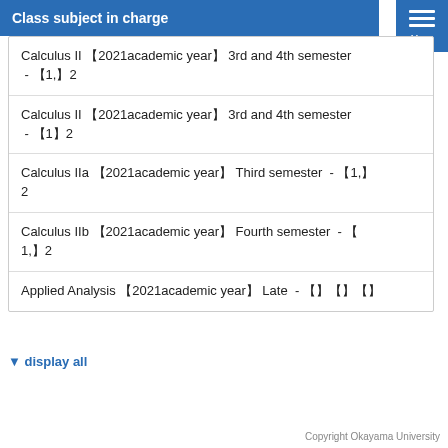Class subject in charge
Calculus II 【2021academic year】 3rd and 4th semester - 【1,】2
Calculus II 【2021academic year】 3rd and 4th semester - 【1】2
Calculus IIa 【2021academic year】 Third semester  - 【1,】2
Calculus IIb 【2021academic year】 Fourth semester  - 【1,】2
Applied Analysis 【2021academic year】 Late  - 【】【】【】
▼ display all
Copyright Okayama University